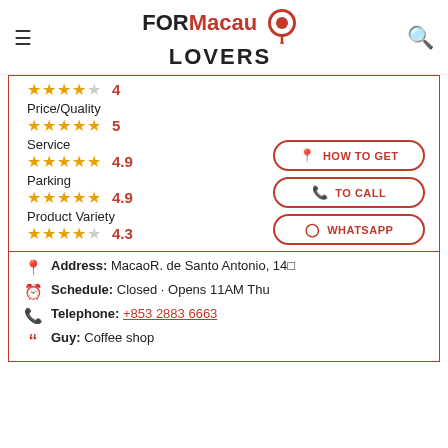FORMacau LOVERS
4 stars - 4
Price/Quality
5 stars - 5
Service
4.9 stars - 4.9
Parking
4.9 stars - 4.9
Product Variety
4.3 stars - 4.3
HOW TO GET
TO CALL
WHATSAPP
Address: MacaoR. de Santo Antonio, 14 
Schedule: Closed · Opens 11AM Thu
Telephone: +853 2883 6663
Guy: Coffee shop